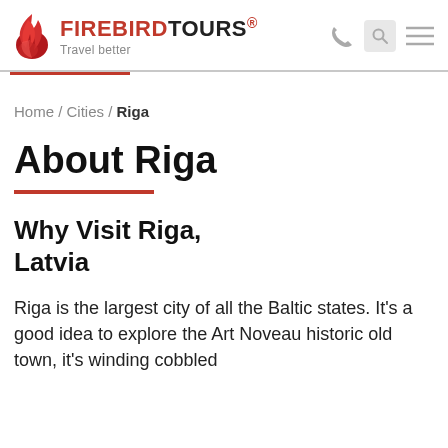FIREBIRD TOURS® Travel better
Home / Cities / Riga
About Riga
Why Visit Riga, Latvia
Riga is the largest city of all the Baltic states. It's a good idea to explore the Art Noveau historic old town, it's winding cobbled